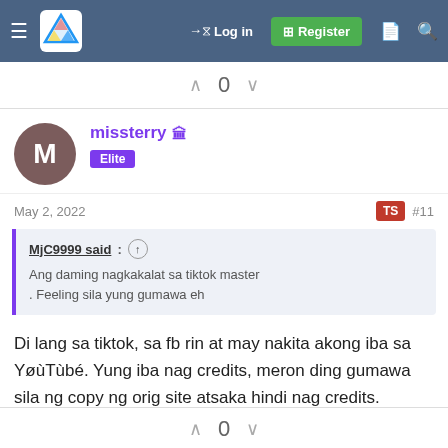Log in | Register
0
missterry 🏛️ Elite
May 2, 2022   TS  #11
MjC9999 said: ↑
Ang daming nagkakalat sa tiktok master
. Feeling sila yung gumawa eh
Di lang sa tiktok, sa fb rin at may nakita akong iba sa YøùTùbé. Yung iba nag credits, meron ding gumawa sila ng copy ng orig site atsaka hindi nag credits.
0